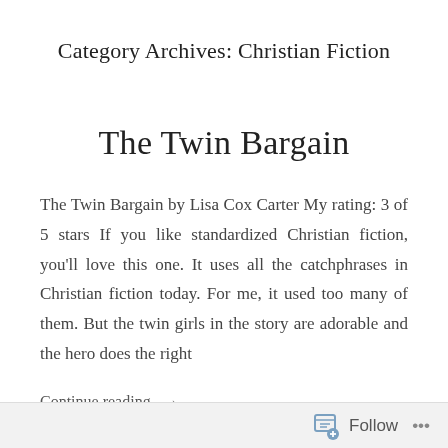Category Archives: Christian Fiction
The Twin Bargain
The Twin Bargain by Lisa Cox Carter My rating: 3 of 5 stars If you like standardized Christian fiction, you'll love this one. It uses all the catchphrases in Christian fiction today. For me, it used too many of them. But the twin girls in the story are adorable and the hero does the right
Continue reading →